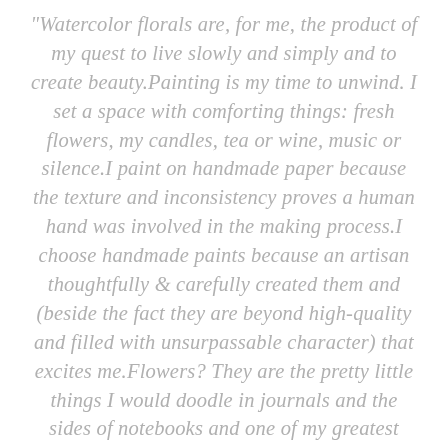"Watercolor florals are, for me, the product of my quest to live slowly and simply and to create beauty.Painting is my time to unwind. I set a space with comforting things: fresh flowers, my candles, tea or wine, music or silence.I paint on handmade paper because the texture and inconsistency proves a human hand was involved in the making process.I choose handmade paints because an artisan thoughtfully & carefully created them and (beside the fact they are beyond high-quality and filled with unsurpassable character) that excites me.Flowers? They are the pretty little things I would doodle in journals and the sides of notebooks and one of my greatest loves.The fact that I have an online shop filled with floral paintings created with handmade paints on handmade paper is simply the outcome of